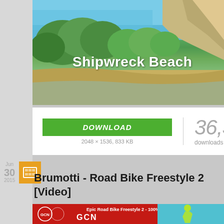[Figure (photo): Aerial/coastal photo of Shipwreck Beach with cliffs, green trees, and blue sky]
Shipwreck Beach
DOWNLOAD
2048 × 1536, 833 KB
36,329
downloads so far!
Jun
30
2015
Brumotti - Road Bike Freestyle 2 [Video]
[Figure (screenshot): GCN video thumbnail showing Epic Road Bike Freestyle 2 - 100% Brumotti with a cyclist on a road bike]